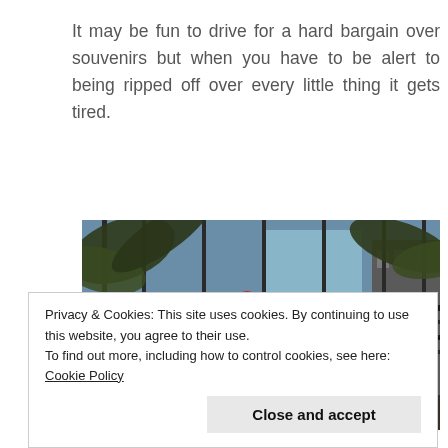It may be fun to drive for a hard bargain over souvenirs but when you have to be alert to being ripped off over every little thing it gets tired.
[Figure (photo): Outdoor market scene with red Chinese lanterns hanging from metal frame structures, with palm trees and buildings visible in the background]
Privacy & Cookies: This site uses cookies. By continuing to use this website, you agree to their use.
To find out more, including how to control cookies, see here: Cookie Policy